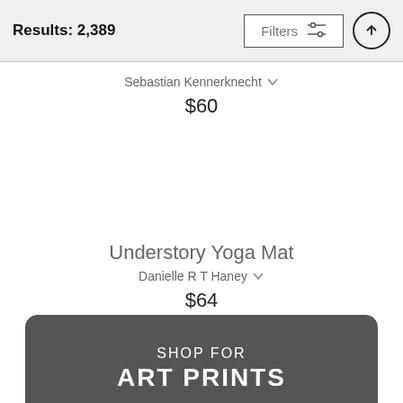Results: 2,389
Sebastian Kennerknecht
$60
Understory Yoga Mat
Danielle R T Haney
$64
SHOP FOR ART PRINTS